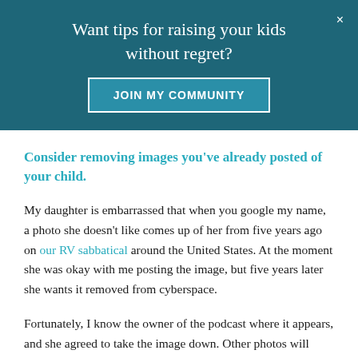Want tips for raising your kids without regret?
JOIN MY COMMUNITY
Consider removing images you've already posted of your child.
My daughter is embarrassed that when you google my name, a photo she doesn't like comes up of her from five years ago on our RV sabbatical around the United States. At the moment she was okay with me posting the image, but five years later she wants it removed from cyberspace.
Fortunately, I know the owner of the podcast where it appears, and she agreed to take the image down. Other photos will remain online as they are attached to